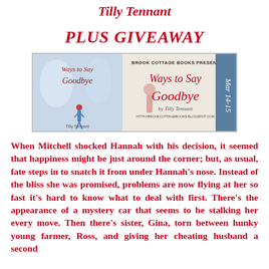Tilly Tennant
PLUS GIVEAWAY
[Figure (illustration): Brook Cottage Books promotional banner for 'Ways to Say Goodbye' by Tilly Tennant, showing book cover on left and stylized title text on right with date Mar 14-15, URL http://brookcottagebooks.blogspot.com]
When Mitchell shocked Hannah with his decision, it seemed that happiness might be just around the corner; but, as usual, fate steps in to snatch it from under Hannah's nose. Instead of the bliss she was promised, problems are now flying at her so fast it's hard to know what to deal with first. There's the appearance of a mystery car that seems to be stalking her every move. Then there's sister, Gina, torn between hunky young farmer, Ross, and giving her cheating husband a second